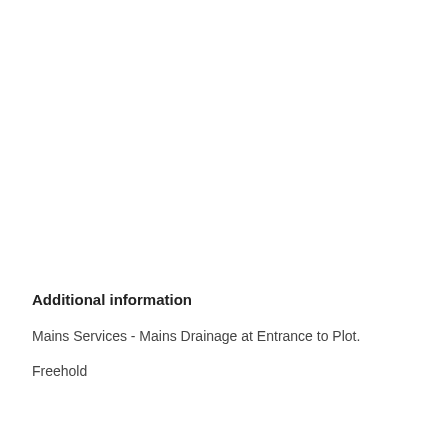Additional information
Mains Services - Mains Drainage at Entrance to Plot.
Freehold